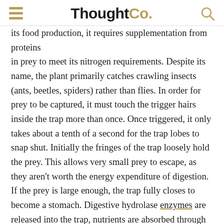ThoughtCo.
its food production, it requires supplementation from proteins in prey to meet its nitrogen requirements. Despite its name, the plant primarily catches crawling insects (ants, beetles, spiders) rather than flies. In order for prey to be captured, it must touch the trigger hairs inside the trap more than once. Once triggered, it only takes about a tenth of a second for the trap lobes to snap shut. Initially the fringes of the trap loosely hold the prey. This allows very small prey to escape, as they aren't worth the energy expenditure of digestion. If the prey is large enough, the trap fully closes to become a stomach. Digestive hydrolase enzymes are released into the trap, nutrients are absorbed through the leaf's interior surface, and 5 to 12 days later the trap opens to release the remaining chitin shell of the